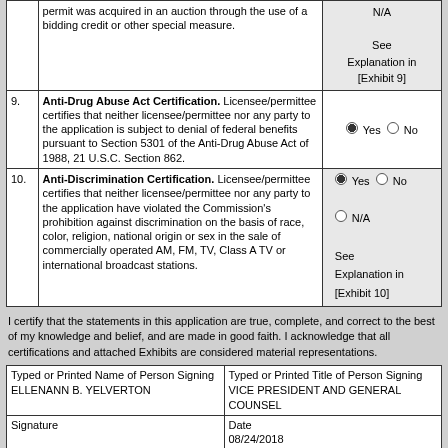| # | Description | Answer |
| --- | --- | --- |
|  | permit was acquired in an auction through the use of a bidding credit or other special measure. | N/A
See Explanation in [Exhibit 9] |
| 9. | Anti-Drug Abuse Act Certification. Licensee/permittee certifies that neither licensee/permittee nor any party to the application is subject to denial of federal benefits pursuant to Section 5301 of the Anti-Drug Abuse Act of 1988, 21 U.S.C. Section 862. | Yes / No (Yes selected) |
| 10. | Anti-Discrimination Certification. Licensee/permittee certifies that neither licensee/permittee nor any party to the application have violated the Commission's prohibition against discrimination on the basis of race, color, religion, national origin or sex in the sale of commercially operated AM, FM, TV, Class A TV or international broadcast stations. | Yes / No (Yes selected)
N/A
See Explanation in [Exhibit 10] |
I certify that the statements in this application are true, complete, and correct to the best of my knowledge and belief, and are made in good faith. I acknowledge that all certifications and attached Exhibits are considered material representations.
| Typed or Printed Name of Person Signing | Typed or Printed Title of Person Signing |
| --- | --- |
| ELLENANN B. YELVERTON | VICE PRESIDENT AND GENERAL COUNSEL |
| Signature | Date
08/24/2018 |